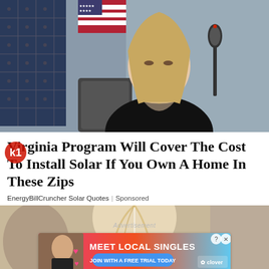[Figure (photo): Woman with long blonde hair wearing a black top, seated at a table with a microphone, American flag and solar panel visible in background]
Virginia Program Will Cover The Cost To Install Solar If You Own A Home In These Zips
EnergyBillCruncher Solar Quotes | Sponsored
[Figure (photo): Partial view of woman with blonde hair from behind, with advertisement overlay showing 'MEET LOCAL SINGLES - Join with a free trial today' with Clover branding]